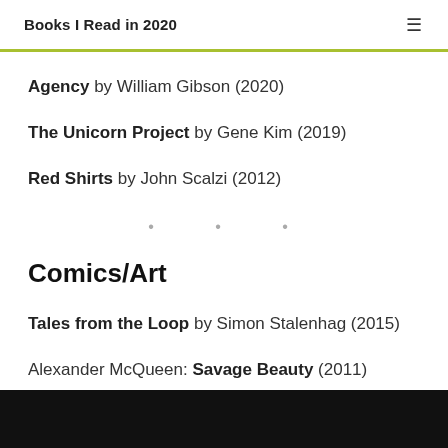Books I Read in 2020
Agency by William Gibson (2020)
The Unicorn Project by Gene Kim (2019)
Red Shirts by John Scalzi (2012)
Comics/Art
Tales from the Loop by Simon Stalenhag (2015)
Alexander McQueen: Savage Beauty (2011)